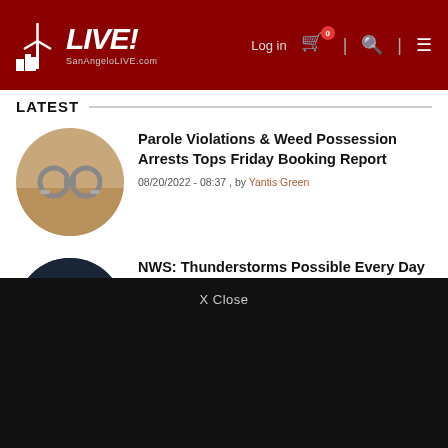SanAngeloLIVE.com — Log in | 0 | Search | Menu
LATEST
[Figure (photo): Circular thumbnail photo of handcuffs on a wooden surface]
Parole Violations & Weed Possession Arrests Tops Friday Booking Report
08/20/2022 - 08:37 , by Yantis Green
[Figure (photo): Circular thumbnail photo of a dark stormy sky with lightning]
NWS: Thunderstorms Possible Every Day for the Next Week Starting Sunday
08/20/2022 - 06:46 , by Yantis Green
X Close